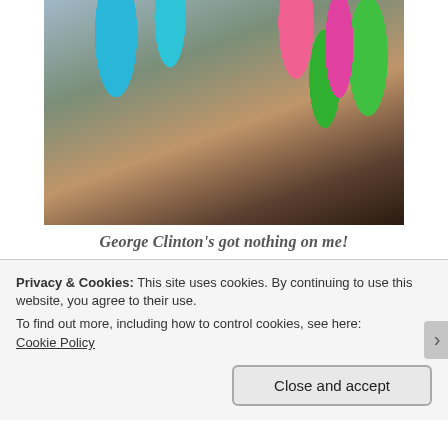[Figure (photo): A person with colorful hair rollers (blue, pink, green) in their hair, wearing a black top, photographed from the chest up.]
George Clinton’s got nothing on me!
I then attached the Hair Flair Softhood according the manufacturer’s instructions. Well sort of. I didn’t keep my hair dryer going for 20 minutes straight as I was a bit scared, this
Privacy & Cookies: This site uses cookies. By continuing to use this website, you agree to their use.
To find out more, including how to control cookies, see here:
Cookie Policy
Close and accept